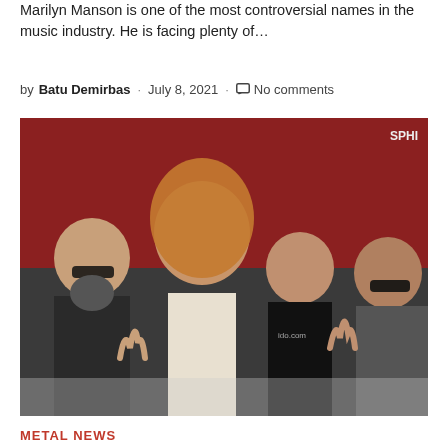Marilyn Manson is one of the most controversial names in the music industry. He is facing plenty of…
by Batu Demirbas · July 8, 2021 · No comments
[Figure (photo): Four heavy metal musicians posing together, making rock hand gestures, in front of a red and dark background.]
METAL NEWS